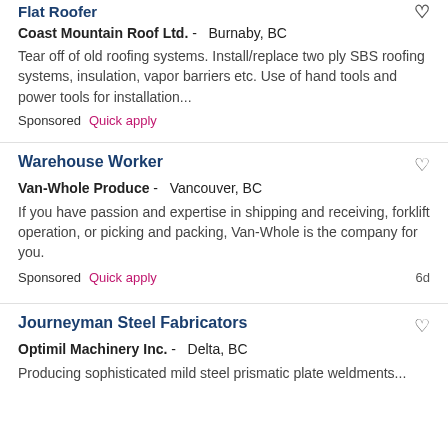Flat Roofer
Coast Mountain Roof Ltd. - Burnaby, BC
Tear off of old roofing systems. Install/replace two ply SBS roofing systems, insulation, vapor barriers etc. Use of hand tools and power tools for installation...
Sponsored  Quick apply
Warehouse Worker
Van-Whole Produce - Vancouver, BC
If you have passion and expertise in shipping and receiving, forklift operation, or picking and packing, Van-Whole is the company for you.
Sponsored  Quick apply  6d
Journeyman Steel Fabricators
Optimil Machinery Inc. - Delta, BC
Producing sophisticated mild steel prismatic plate weldments...